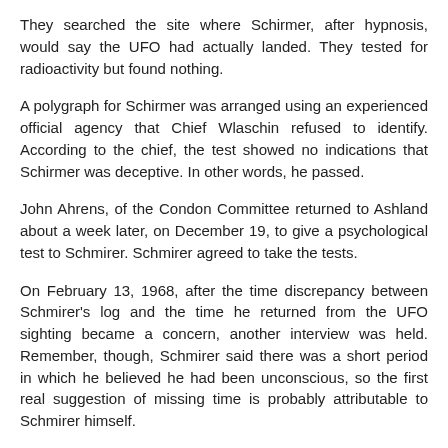They searched the site where Schirmer, after hypnosis, would say the UFO had actually landed. They tested for radioactivity but found nothing.
A polygraph for Schirmer was arranged using an experienced official agency that Chief Wlaschin refused to identify. According to the chief, the test showed no indications that Schirmer was deceptive. In other words, he passed.
John Ahrens, of the Condon Committee returned to Ashland about a week later, on December 19, to give a psychological test to Schmirer. Schmirer agreed to take the tests.
On February 13, 1968, after the time discrepancy between Schmirer's log and the time he returned from the UFO sighting became a concern, another interview was held. Remember, though, Schmirer said there was a short period in which he believed he had been unconscious, so the first real suggestion of missing time is probably attributable to Schmirer himself.